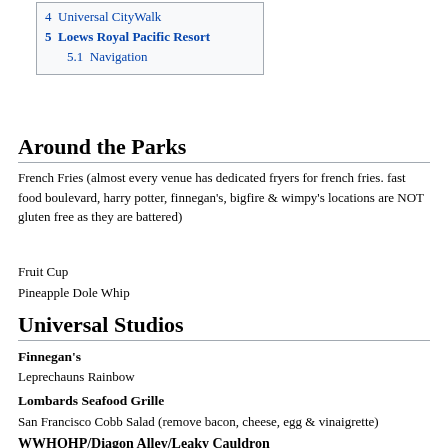4  Universal CityWalk
5  Loews Royal Pacific Resort
5.1  Navigation
Around the Parks
French Fries (almost every venue has dedicated fryers for french fries. fast food boulevard, harry potter, finnegan's, bigfire & wimpy's locations are NOT gluten free as they are battered)
Fruit Cup
Pineapple Dole Whip
Universal Studios
Finnegan's
Leprechauns Rainbow
Lombards Seafood Grille
San Francisco Cobb Salad (remove bacon, cheese, egg & vinaigrette)
WWHOHP/Diagon Alley/Leaky Cauldron